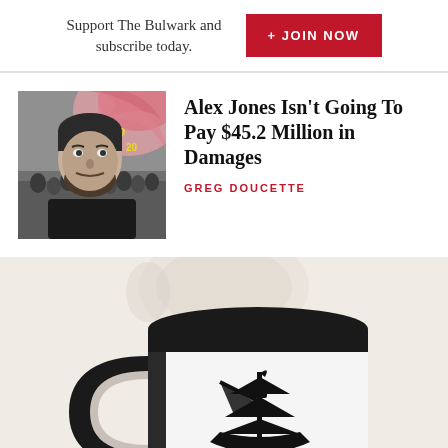Support The Bulwark and subscribe today.
+ JOIN NOW
Alex Jones Isn’t Going To Pay $45.2 Million in Damages
GREG DOUCETTE
[Figure (photo): Photo of a man with beard and dark hair against a collage background with pink and yellow elements]
[Figure (photo): A white coffee mug with black interior and handle, featuring a black tall ship silhouette logo, on a beige/cream background]